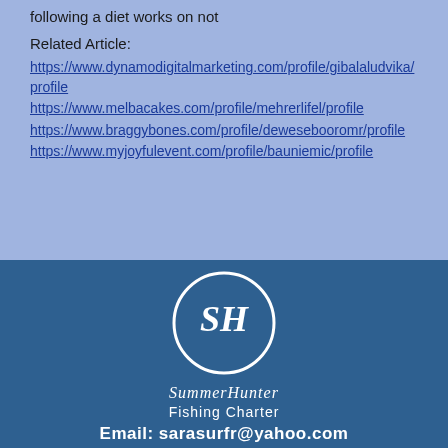following a diet works on not
Related Article:
https://www.dynamodigitalmarketing.com/profile/gibalaludvika/profile
https://www.melbacakes.com/profile/mehrerlifel/profile
https://www.braggybones.com/profile/dewesebooromr/profile
https://www.myjoyfulevent.com/profile/bauniemic/profile
[Figure (logo): SummerHunter Fishing Charter logo: circular white ring with script SH initials and 'SummerHunter' text below, on dark blue background]
Fishing Charter
Email: sarasurfr@yahoo.com
Tel: 251 213 6087